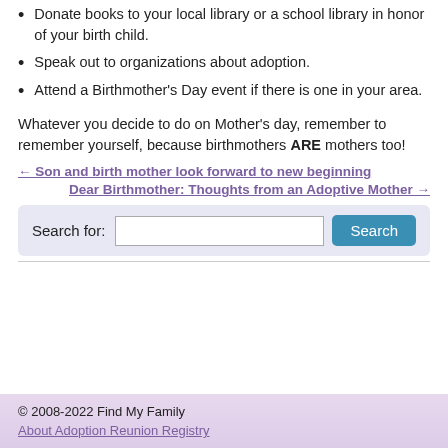Donate books to your local library or a school library in honor of your birth child.
Speak out to organizations about adoption.
Attend a Birthmother's Day event if there is one in your area.
Whatever you decide to do on Mother's day, remember to remember yourself, because birthmothers ARE mothers too!
← Son and birth mother look forward to new beginning
Dear Birthmother: Thoughts from an Adoptive Mother →
Search for: [input] Search
© 2008-2022 Find My Family
About Adoption Reunion Registry